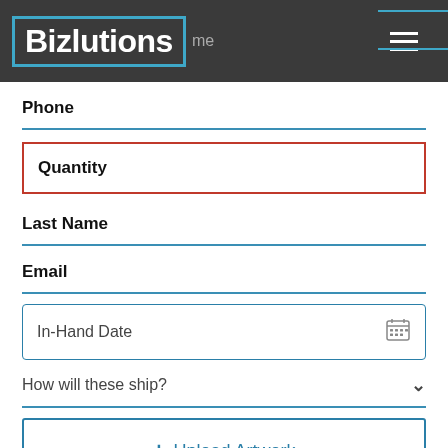Bizlutions
Phone
Quantity
Last Name
Email
In-Hand Date
How will these ship?
+ Upload Artwork